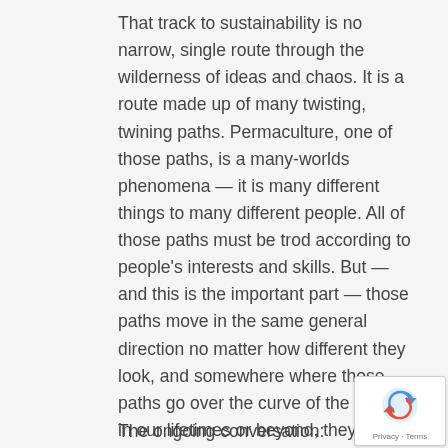That track to sustainability is no narrow, single route through the wilderness of ideas and chaos. It is a route made up of many twisting, twining paths. Permaculture, one of those paths, is a many-worlds phenomena — it is many different things to many different people. All of those paths must be trod according to people's interests and skills. But — and this is the important part — those paths move in the same general direction no matter how different they look, and somewhere where those paths go over the curve of the horizon, in our lifetimes or beyond, they at some point have the potential to converge in the future we seek. Make it s
The ongoing conversation: